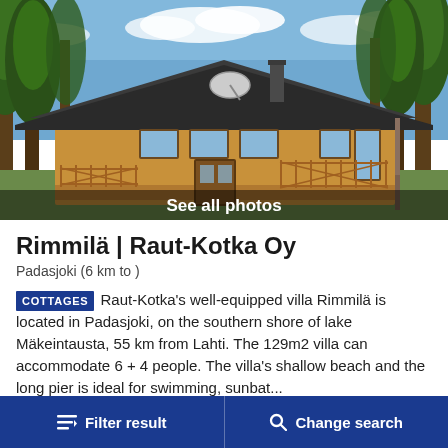[Figure (photo): Wooden log cabin/villa with large covered porch and railing, satellite dish on roof, surrounded by pine trees, blue sky with clouds. Text overlay at bottom: 'See all photos']
Rimmilä | Raut-Kotka Oy
Padasjoki (6 km to )
COTTAGES Raut-Kotka's well-equipped villa Rimmilä is located in Padasjoki, on the southern shore of lake Mäkeintausta, 55 km from Lahti. The 129m2 villa can accommodate 6 + 4 people. The villa's shallow beach and the long pier is ideal for swimming, sunbat...
> Read more
Filter result    Change search